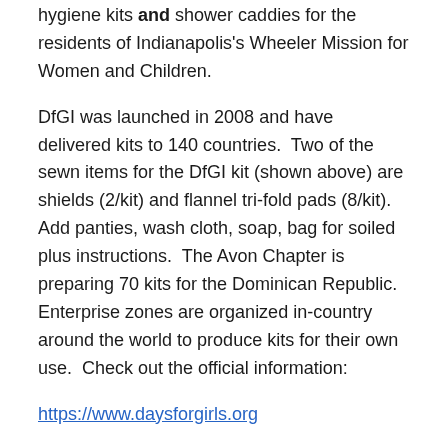hygiene kits and shower caddies for the residents of Indianapolis's Wheeler Mission for Women and Children.
DfGI was launched in 2008 and have delivered kits to 140 countries.  Two of the sewn items for the DfGI kit (shown above) are shields (2/kit) and flannel tri-fold pads (8/kit).  Add panties, wash cloth, soap, bag for soiled plus instructions.  The Avon Chapter is preparing 70 kits for the Dominican Republic.  Enterprise zones are organized in-country around the world to produce kits for their own use.  Check out the official information:
https://www.daysforgirls.org
A local group of friends and colleagues deliver functional gift bags @ Christmas to WM for 72 women.  Shower caddies are made of outdoor fabric with four exterior pockets.  The bags are filled with socks, gloves, nail